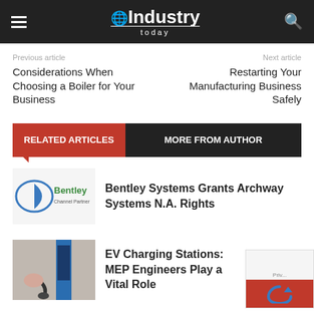Industry Today
Previous article
Next article
Considerations When Choosing a Boiler for Your Business
Restarting Your Manufacturing Business Safely
RELATED ARTICLES   MORE FROM AUTHOR
[Figure (logo): Bentley Systems Channel Partner logo]
Bentley Systems Grants Archway Systems N.A. Rights
[Figure (photo): EV charging station photo showing a person plugging in a charger]
EV Charging Stations: MEP Engineers Play a Vital Role